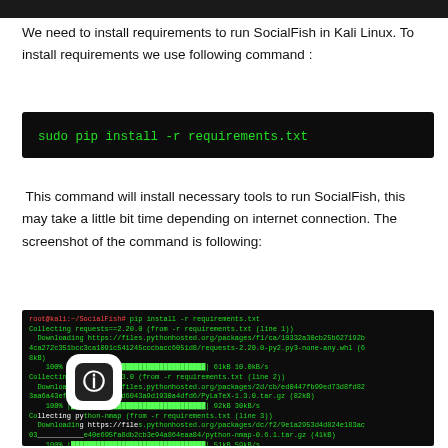[Figure (screenshot): Dark top bar / header bar]
We need to install requirements to run SocialFish in Kali Linux. To install requirements we use following command :
[Figure (screenshot): Terminal code block showing: sudo pip install -r requirements.txt]
This command will install necessary tools to run SocialFish, this may take a little bit time depending on internet connection. The screenshot of the command is following:
[Figure (screenshot): Terminal screenshot showing pip install -r requirements.txt output, downloading requests==2.20.0, PyLaTeX==1.3.0, python-nmap, and Flask requirements with progress bars and download speeds. Shows root@kali:~/SocialFish# prompt.]